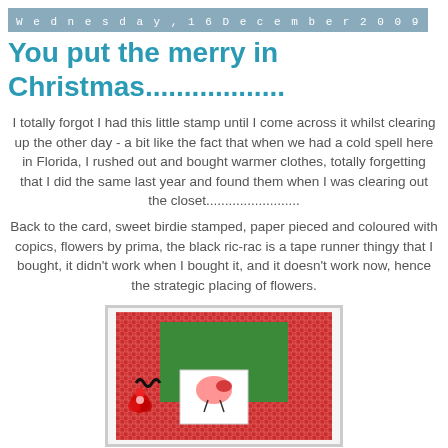Wednesday, 16 December 2009
You put the merry in Christmas..................
I totally forgot I had this little stamp until I come across it whilst clearing up the other day - a bit like the fact that when we had a cold spell here in Florida, I rushed out and bought warmer clothes, totally forgetting that I did the same last year and found them when I was clearing out the closet.........................
Back to the card, sweet birdie stamped, paper pieced and coloured with copics, flowers by prima, the black ric-rac is a tape runner thingy that I bought, it didn't work when I bought it, and it doesn't work now, hence the strategic placing of flowers.
[Figure (photo): A handmade Christmas card with red gingham paper background, green mat layer, a small stamped bird image, and a black ric-rac with red flowers decoration.]